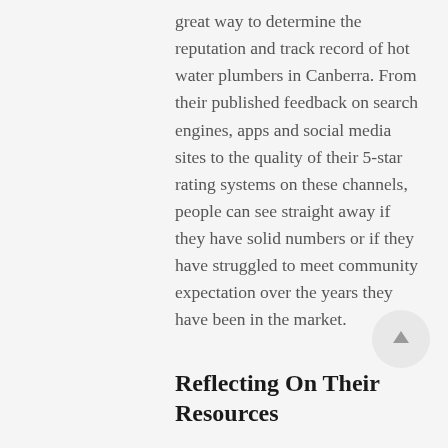great way to determine the reputation and track record of hot water plumbers in Canberra. From their published feedback on search engines, apps and social media sites to the quality of their 5-star rating systems on these channels, people can see straight away if they have solid numbers or if they have struggled to meet community expectation over the years they have been in the market.
Reflecting On Their Resources